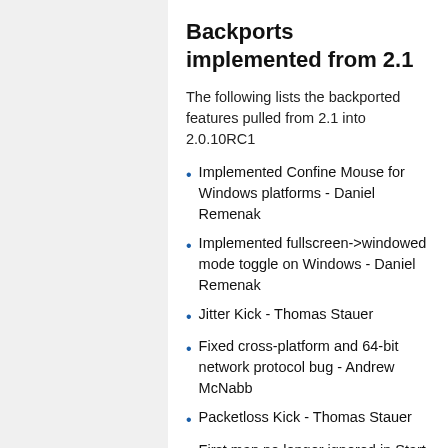Backports implemented from 2.1
The following lists the backported features pulled from 2.1 into 2.0.10RC1
Implemented Confine Mouse for Windows platforms - Daniel Remenak
Implemented fullscreen->windowed mode toggle on Windows - Daniel Remenak
Jitter Kick - Thomas Stauer
Fixed cross-platform and 64-bit network protocol bug - Andrew McNabb
Packetloss Kick - Thomas Stauer
First map no longer ignored in Start Server menu - Ravu al Hemio
Updated zlib to version 1.2.3 - Sean